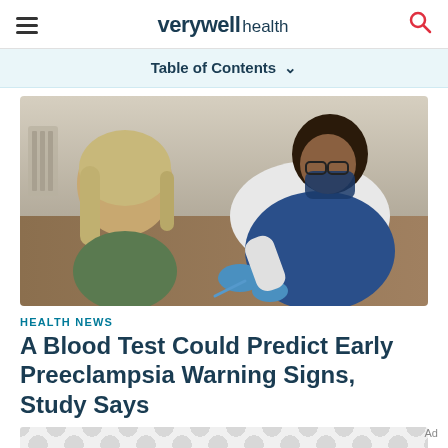verywell health
Table of Contents
[Figure (photo): A healthcare worker wearing blue gloves and a face mask leans over to draw blood or perform a medical procedure on a seated patient with blonde hair.]
HEALTH NEWS
A Blood Test Could Predict Early Preeclampsia Warning Signs, Study Says